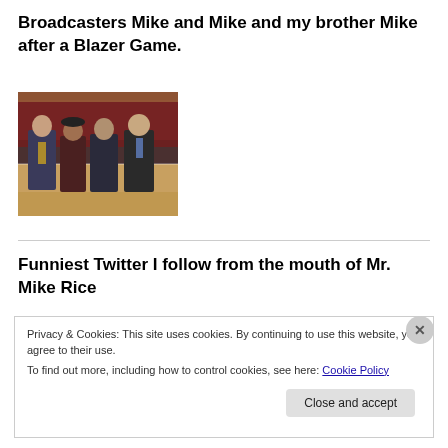Broadcasters Mike and Mike and my brother Mike after a Blazer Game.
[Figure (photo): Four men posing together on a basketball court after a Blazer game. The court and arena seating are visible in the background.]
Funniest Twitter I follow from the mouth of Mr. Mike Rice
Privacy & Cookies: This site uses cookies. By continuing to use this website, you agree to their use.
To find out more, including how to control cookies, see here: Cookie Policy
Close and accept